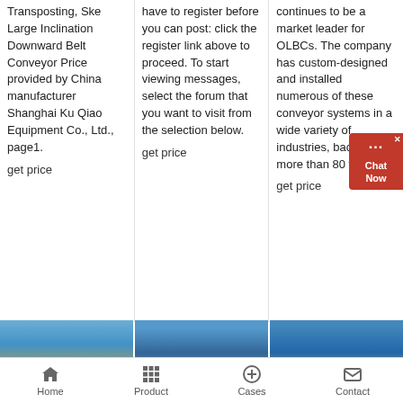Transposting, Ske Large Inclination Downward Belt Conveyor Price provided by China manufacturer Shanghai Ku Qiao Equipment Co., Ltd., page1. get price
have to register before you can post: click the register link above to proceed. To start viewing messages, select the forum that you want to visit from the selection below. get price
continues to be a market leader for OLBCs. The company has custom-designed and installed numerous of these conveyor systems in a wide variety of industries, backed by more than 80 years of get price
[Figure (photo): Industrial conveyor or industrial equipment photo with blue sky background and yellow machinery at bottom]
[Figure (photo): Industrial conveyor system photo with blue sky, dark steel structure and mechanical components]
[Figure (photo): Industrial conveyor or scaffolding structure photo with blue sky background and yellow/gold metallic structure]
Home   Product   Cases   Contact